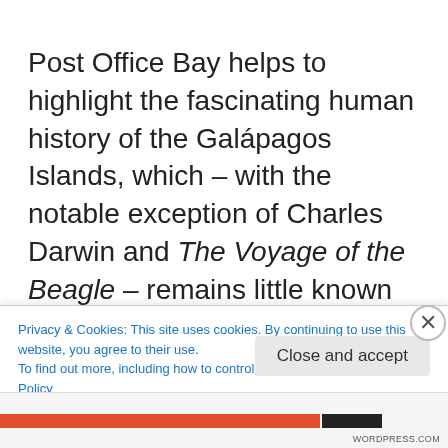Post Office Bay helps to highlight the fascinating human history of the Galápagos Islands, which – with the notable exception of Charles Darwin and The Voyage of the Beagle – remains little known to many travellers. Pirates, authors, castaways, soldiers, convicts, prostitutes, entrepreneurs, fantasists and utopians – as well as whalers – have all left their marks here.
Privacy & Cookies: This site uses cookies. By continuing to use this website, you agree to their use.
To find out more, including how to control cookies, see here: Cookie Policy
Close and accept